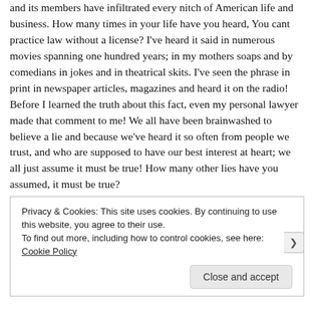and its members have infiltrated every nitch of American life and business. How many times in your life have you heard, You cant practice law without a license? I've heard it said in numerous movies spanning one hundred years; in my mothers soaps and by comedians in jokes and in theatrical skits. I've seen the phrase in print in newspaper articles, magazines and heard it on the radio! Before I learned the truth about this fact, even my personal lawyer made that comment to me! We all have been brainwashed to believe a lie and because we've heard it so often from people we trust, and who are supposed to have our best interest at heart; we all just assume it must be true! How many other lies have you assumed, it must be true?
Privacy & Cookies: This site uses cookies. By continuing to use this website, you agree to their use.
To find out more, including how to control cookies, see here: Cookie Policy
Close and accept